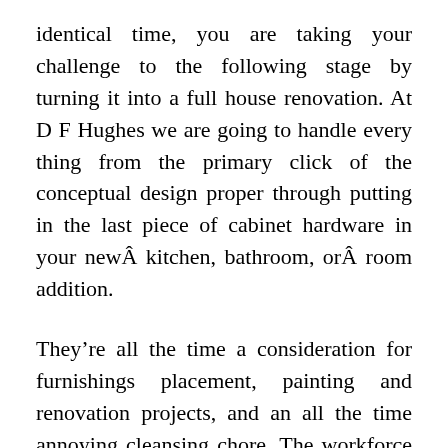identical time, you are taking your challenge to the following stage by turning it into a full house renovation. At D F Hughes we are going to handle every thing from the primary click of the conceptual design proper through putting in the last piece of cabinet hardware in your newÂ kitchen, bathroom, orÂ room addition.
They’re all the time a consideration for furnishings placement, painting and renovation projects, and an all the time annoying cleansing chore. The workforce from House Renovations presented us with